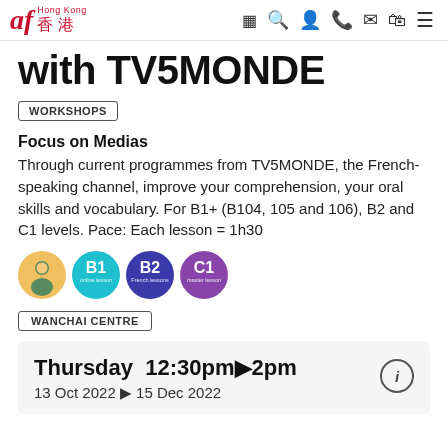af Hong Kong 香港
with TV5MONDE
WORKSHOPS
Focus on Medias
Through current programmes from TV5MONDE, the French-speaking channel, improve your comprehension, your oral skills and vocabulary. For B1+ (B104, 105 and 106), B2 and C1 levels. Pace: Each lesson = 1h30
[Figure (illustration): Level badges: person avatar, B1 (teal circle), B2 (dark blue circle), C1 (purple circle)]
WANCHAI CENTRE
Thursday 12:30pm▶2pm
13 Oct 2022 ▶ 15 Dec 2022